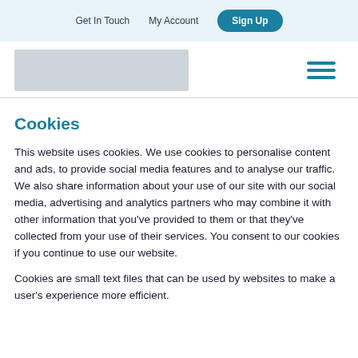Get In Touch   My Account   Sign Up
[Figure (logo): Logo placeholder image (grey rectangle)]
Cookies
This website uses cookies. We use cookies to personalise content and ads, to provide social media features and to analyse our traffic. We also share information about your use of our site with our social media, advertising and analytics partners who may combine it with other information that you’ve provided to them or that they’ve collected from your use of their services. You consent to our cookies if you continue to use our website.
Cookies are small text files that can be used by websites to make a user’s experience more efficient.